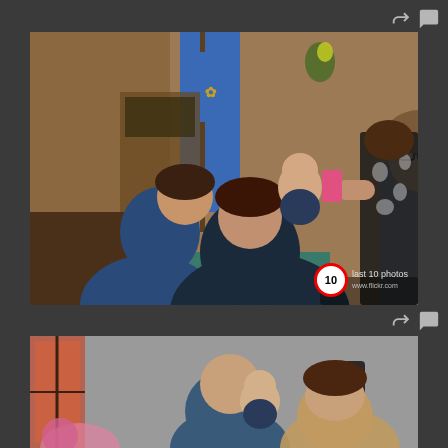[Figure (photo): A group photo inside a church or hall. Children and adults are gathered together. A boy with glasses smiles at the camera while holding a baby. A woman in a black and white floral dress photographs them with a pink phone. A woman with dark hair kneels in the foreground. A blue flag with a crest is visible in the background along with wooden panelling.]
[Figure (photo): Partial view of people outside a building. A man holds a baby. A woman with dark hair is visible. Stained glass window and a speaker on a wall are visible in the background.]